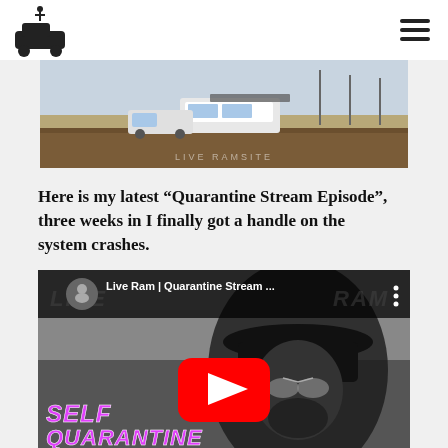[Figure (photo): Outdoor desert scene with an RV/camper trailer and truck parked near a wooden fence, flat landscape with utility poles in background]
Here is my latest “Quarantine Stream Episode”, three weeks in I finally got a handle on the system crashes.
[Figure (screenshot): YouTube video embed thumbnail showing 'Live Ram | Quarantine Stream ...' with a man wearing a black hat and sunglasses, pink 'Self Quarantine Stream' text overlay, red YouTube play button in center]